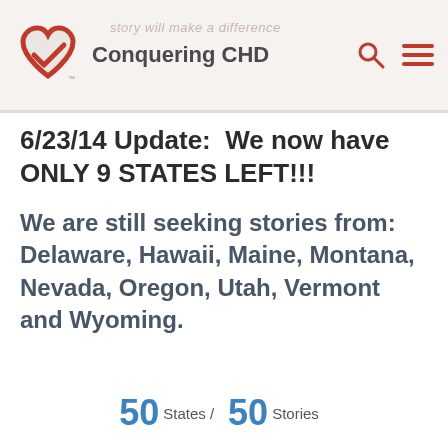[Figure (logo): Conquering CHD logo — red heart with checkmark and site name]
6/23/14 Update:  We now have ONLY 9 STATES LEFT!!!
We are still seeking stories from: Delaware, Hawaii, Maine, Montana, Nevada, Oregon, Utah, Vermont and Wyoming.
50 States / 50 Stories